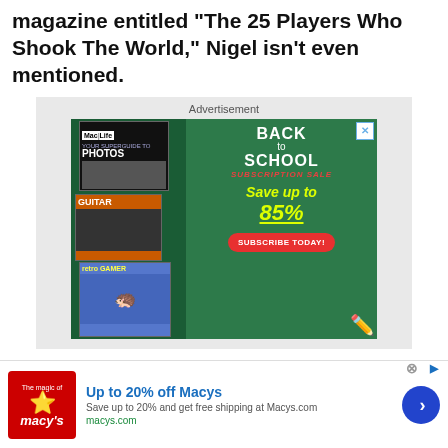magazine entitled "The 25 Players Who Shook The World," Nigel isn't even mentioned.
[Figure (screenshot): Back to School Subscription Sale advertisement for Mac Life and other magazines. Shows magazine covers (Mac Life Photos, Guitar, Retro Gamer) on left side, green chalkboard background on right with text 'BACK to SCHOOL SUBSCRIPTION SALE Save up to 85%' in yellow handwritten font, red 'SUBSCRIBE TODAY!' button, school supplies (pencils, ruler, scissors) as decoration. Small X close button in top right corner.]
Advertisement
[Figure (screenshot): Macy's advertisement banner. Red square logo with star and 'macys' text on left. Bold blue text 'Up to 20% off Macys', gray description 'Save up to 20% and get free shipping at Macys.com', green URL 'macys.com'. Blue circular arrow button on right. Close circle button and AdWords icon at top.]